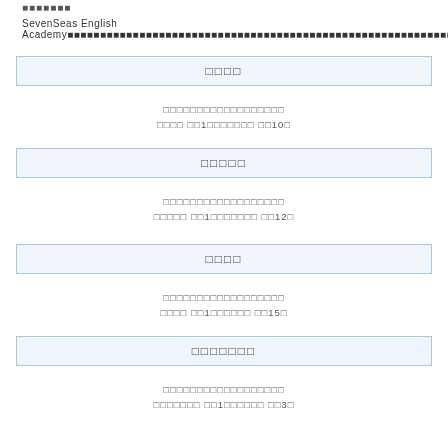xxxxxxx
SevenSeas English Academyxxxxxxxxxxxxxxxxxxxxxxxxxxxxxxxxxxxxxxxxxxxxxxxxxxxxxxxxxxxxxxxxxxxxxxxxxx
oooo
xxxxxxxxxxxxxxxxxxxxxxxxxx
ooo oo1ooooooooo oo10o
ooooo
xxxxxxxxxxxxxxxxxxxxxxxxxx
ooooo oo1ooooooooo oo12o
oooo
xxxxxxxxxxxxxxxxxxxxxxxxxx
oooo oo1ooooooo oo15o
ooooooo
xxxxxxxxxxxxxxxxxxxxxxxxxx
ooooooo oo1oooooo oo3o